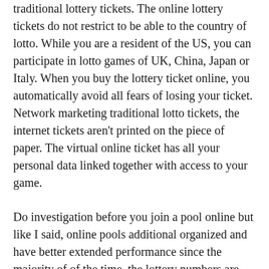traditional lottery tickets. The online lottery tickets do not restrict to be able to the country of lotto. While you are a resident of the US, you can participate in lotto games of UK, China, Japan or Italy. When you buy the lottery ticket online, you automatically avoid all fears of losing your ticket. Network marketing traditional lotto tickets, the internet tickets aren't printed on the piece of paper. The virtual online ticket has all your personal data linked together with access to your game.
Do investigation before you join a pool online but like I said, online pools additional organized and have better extended performance since the majority of of the time, the lottery numbers are selected based around the proven and tested lottery software.
Since the steps are meant to be “easy”, many who have tried put together an online lottery website business plug away trying test the steps as best they can potentially.